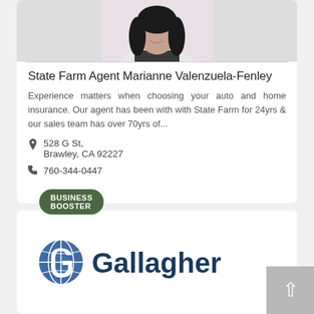[Figure (photo): Portrait photo of a woman with long dark hair, smiling, wearing a black lace top]
State Farm Agent Marianne Valenzuela-Fenley
Experience matters when choosing your auto and home insurance. Our agent has been with with State Farm for 24yrs & our sales team has over 70yrs of...
528 G St,
Brawley, CA 92227
760-344-0447
BUSINESS BOOSTER
[Figure (logo): Gallagher company logo with globe icon and bold dark blue text reading Gallagher]